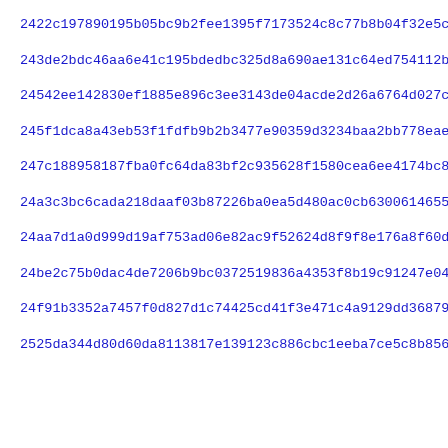2422c197890195b05bc9b2fee1395f7173524c8c77b8b04f32e5cfc06fcb3
243de2bdc46aa6e41c195bdedbc325d8a690ae131c64ed754112b8b6bb5dc
24542ee142830ef1885e896c3ee3143de04acde2d26a6764d027c4ada8fc4
245f1dca8a43eb53f1fdfb9b2b3477e90359d3234baa2bb778eae191f1543
247c188958187fba0fc64da83bf2c935628f1580cea6ee4174bc8d67d904c
24a3c3bc6cada218daaf03b87226ba0ea5d480ac0cb630061465588e1a48d
24aa7d1a0d999d19af753ad06e82ac9f52624d8f9f8e176a8f60da18573cc
24be2c75b0dac4de7206b9bc0372519836a4353f8b19c91247e04a7e1026e
24f91b3352a7457f0d827d1c74425cd41f3e471c4a9129dd368792afbe036
2525da344d80d60da8113817e139123c886cbc1eeba7ce5c8b856d4e41d94